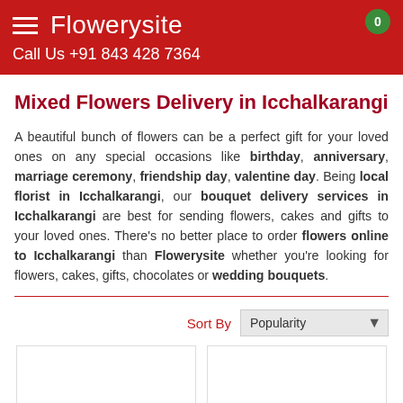Flowerysite | Call Us +91 843 428 7364
Mixed Flowers Delivery in Icchalkarangi
A beautiful bunch of flowers can be a perfect gift for your loved ones on any special occasions like birthday, anniversary, marriage ceremony, friendship day, valentine day. Being local florist in Icchalkarangi, our bouquet delivery services in Icchalkarangi are best for sending flowers, cakes and gifts to your loved ones. There's no better place to order flowers online to Icchalkarangi than Flowerysite whether you're looking for flowers, cakes, gifts, chocolates or wedding bouquets.
Sort By  Popularity